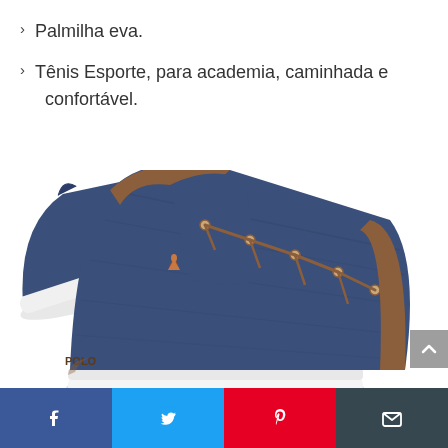Palmilha eva.
Tênis Esporte, para academia, caminhada e confortável.
[Figure (photo): Blue denim canvas sneaker with brown leather accents and laces, white sole, POLO brand logo embroidered on side. Two shoes shown, one upright and one behind it.]
Social share bar with Facebook, Twitter, Pinterest, and Email icons